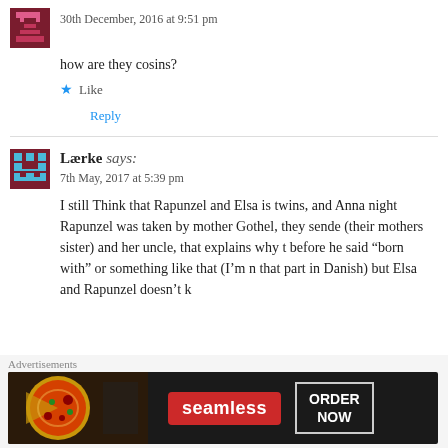30th December, 2016 at 9:51 pm
how are they cosins?
Like
Reply
Lærke says:
7th May, 2017 at 5:39 pm
I still Think that Rapunzel and Elsa is twins, and Anna night Rapunzel was taken by mother Gothel, they sende (their mothers sister) and her uncle, that explains why t before he said "born with" or something like that (I'm n that part in Danish) but Elsa and Rapunzel doesn't k
Advertisements